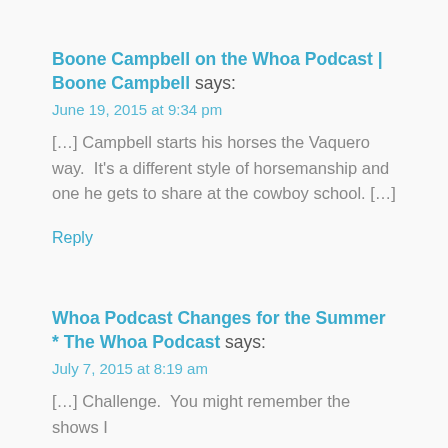Boone Campbell on the Whoa Podcast | Boone Campbell says:
June 19, 2015 at 9:34 pm
[…] Campbell starts his horses the Vaquero way.  It's a different style of horsemanship and one he gets to share at the cowboy school. […]
Reply
Whoa Podcast Changes for the Summer * The Whoa Podcast says:
July 7, 2015 at 8:19 am
[…] Challenge.  You might remember the shows I